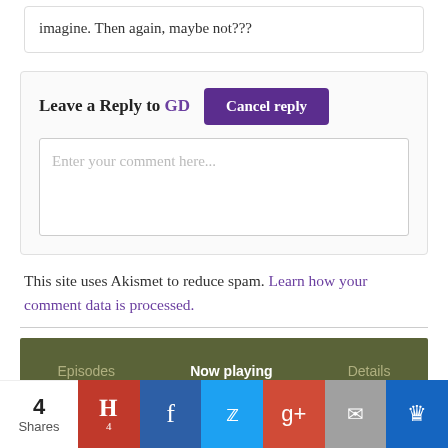imagine. Then again, maybe not???
Leave a Reply to GD
Enter your comment here...
This site uses Akismet to reduce spam. Learn how your comment data is processed.
[Figure (screenshot): Media player bar with tabs: Episodes, Now playing, Details]
[Figure (infographic): Social share bar with 4 Shares count, Pinterest, Facebook, Twitter, Google+, Email, Crown icons]